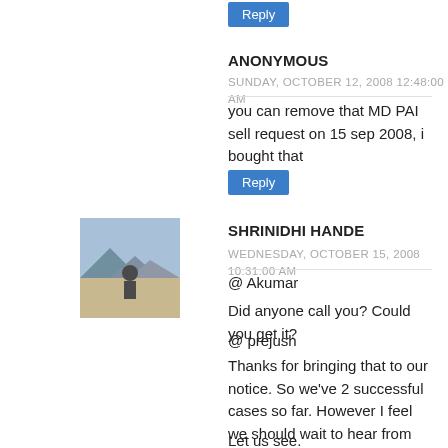[Figure (other): Reply button at top of page]
ANONYMOUS
SUNDAY, OCTOBER 12, 2008 12:48:00 AM
you can remove that MD PAI sell request on 15 sep 2008, i bought that
[Figure (other): Reply button]
[Figure (photo): Avatar photo of Shrinidhi Hande]
SHRINIDHI HANDE
WEDNESDAY, OCTOBER 15, 2008 10:31:00 AM
@ Akumar
Did anyone call you? Could you get it?
@ prejush
Thanks for bringing that to our notice. So we've 2 successful cases so far. However I feel we should wait to hear from the person who posted it before deleting it.
Let us see.